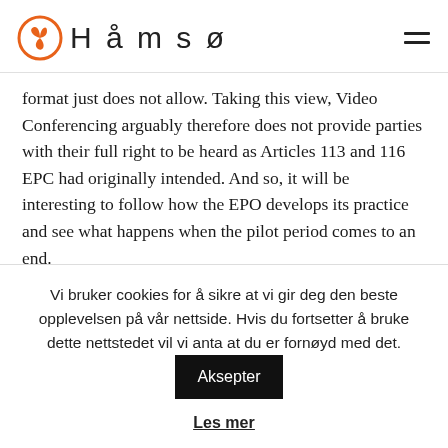Håmsø
format just does not allow. Taking this view, Video Conferencing arguably therefore does not provide parties with their full right to be heard as Articles 113 and 116 EPC had originally intended. And so, it will be interesting to follow how the EPO develops its practice and see what happens when the pilot period comes to an end.
Since the start of the extended pilot period, Håmsø Patentbyrå has had first-hand experience of Oral Proceedings in the Opposition Division by Video Conference. The hearings
Vi bruker cookies for å sikre at vi gir deg den beste opplevelsen på vår nettside. Hvis du fortsetter å bruke dette nettstedet vil vi anta at du er fornøyd med det.
Aksepter
Les mer